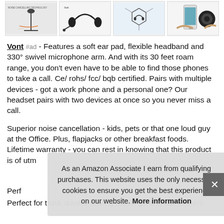[Figure (screenshot): Row of four product thumbnail images showing a headset/microphone product from different angles]
Vont #ad - Features a soft ear pad, flexible headband and 330° swivel microphone arm. And with its 30 feet roam range, you don't even have to be able to find those phones to take a call. Ce/ rohs/ fcc/ bqb certified. Pairs with multiple devices - got a work phone and a personal one? Our headset pairs with two devices at once so you never miss a call.
Superior noise cancellation - kids, pets or that one loud guy at the Office. Plus, flapjacks or other breakfast foods. Lifetime warranty - you can rest in knowing that this product is of utm
[Figure (screenshot): Cookie consent popup overlay: 'As an Amazon Associate I earn from qualifying purchases. This website uses the only necessary cookies to ensure you get the best experience on our website. More information' with a close (x) button]
Perf
Perfect for truck drivers. Giving meetings and call centers